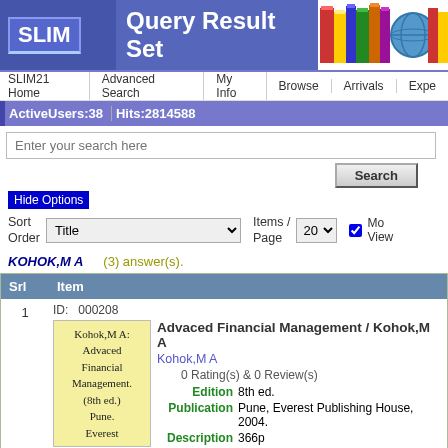SLIM Query Result Set
SLIM21 Home  Advanced Search  My Info  Browse  Arrivals  Expe
ActiveUsers:38  Hits:2814588
Enter your search here
Hide Options
Sort Order: Title  Items / Page: 20  Mo View
KOHOK,M A  (3) answer(s).
| Srl | Item |
| --- | --- |
| 1 | ID: 000208
Advaced Financial Management / Kohok,M A
Kohok,M A
0 Rating(s) & 0 Review(s)
Edition: 8th ed.
Publication: Pune, Everest Publishing House, 2004.
Description: 366p
Standard Number: 81-86314-69-5
Key: Financial management ; Capital Markets ; Money M |